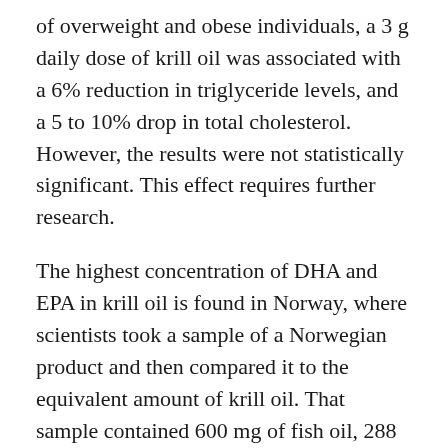of overweight and obese individuals, a 3 g daily dose of krill oil was associated with a 6% reduction in triglyceride levels, and a 5 to 10% drop in total cholesterol. However, the results were not statistically significant. This effect requires further research.
The highest concentration of DHA and EPA in krill oil is found in Norway, where scientists took a sample of a Norwegian product and then compared it to the equivalent amount of krill oil. That sample contained 600 mg of fish oil, 288 mg of EPA + DHA, and 330 mg of omega-3 PUFAs. Krill oil contained only 63% of the amount of fish oil, making it a more natural supplement to supplement diet.
Recent research has revealed that combination